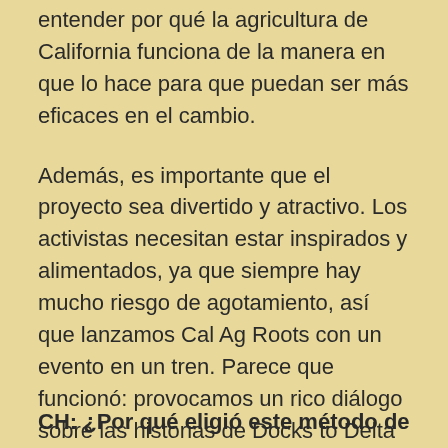entender por qué la agricultura de California funciona de la manera en que lo hace para que puedan ser más eficaces en el cambio.
Además, es importante que el proyecto sea divertido y atractivo. Los activistas necesitan estar inspirados y alimentados, ya que siempre hay mucho riesgo de agotamiento, así que lanzamos Cal Ag Roots con un evento en un tren. Parece que funcionó: provocamos un rico diálogo sobre las historias de Docks to Delta y la gente nos dijo que se lo había pasado muy bien.
CH: ¿Por qué eligió este método de